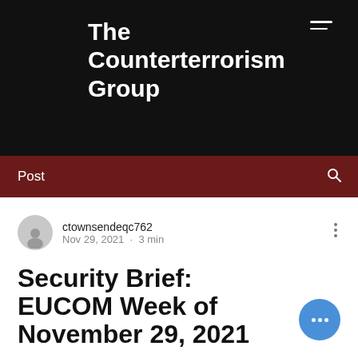The Counterterrorism Group
Post
ctownsendeqc762
Nov 29, 2021  ·  3 min
Security Brief: EUCOM Week of November 29, 2021
Week of Monday, November 29, 2021 | Issue 53
Casey Mager, Federica Calissano, van de Gevel, Zarah Sheikh, EUCOM Team